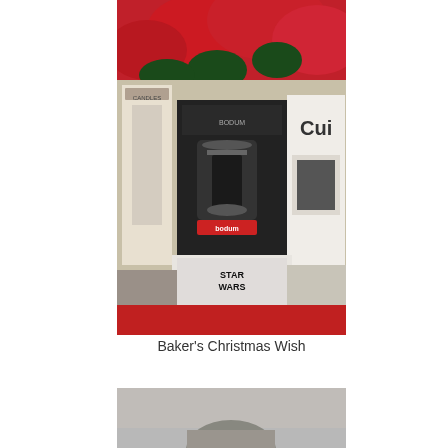[Figure (photo): A flat-lay style photo of various kitchen and gift items including a Bodum French press coffee maker in its box, a Star Wars labeled box, a Cuisinart product box, candles, and red poinsettia flowers in the background.]
Baker's Christmas Wish
[Figure (photo): Partial photo showing the top portion of another image, appears to show a baked item or food on a surface.]